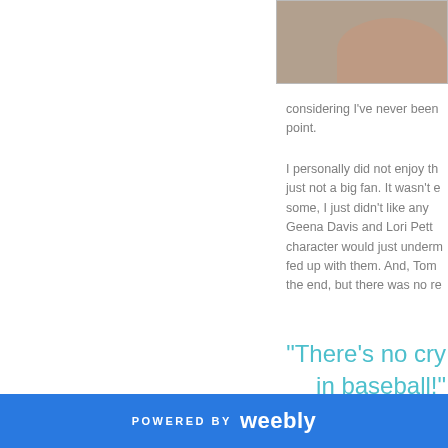[Figure (photo): Partial photo showing a tan/skin-toned subject against a brown/beige textured background, cropped at top-right of page]
considering I've never been point.
I personally did not enjoy th just not a big fan. It wasn't e some, I just didn't like any Geena Davis and Lori Pett character would just underm fed up with them. And, Tom the end, but there was no re
"There's no cry in baseball!"
POWERED BY weebly